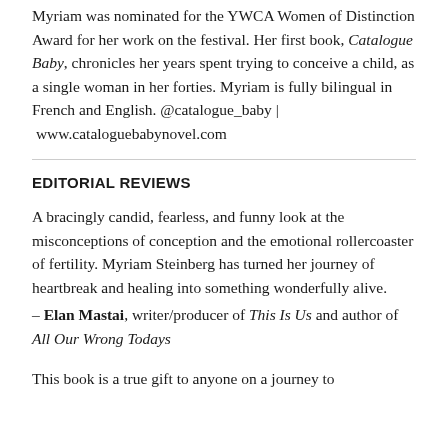Myriam was nominated for the YWCA Women of Distinction Award for her work on the festival. Her first book, Catalogue Baby, chronicles her years spent trying to conceive a child, as a single woman in her forties. Myriam is fully bilingual in French and English. @catalogue_baby | www.cataloguebabynovel.com
EDITORIAL REVIEWS
A bracingly candid, fearless, and funny look at the misconceptions of conception and the emotional rollercoaster of fertility. Myriam Steinberg has turned her journey of heartbreak and healing into something wonderfully alive.
– Elan Mastai, writer/producer of This Is Us and author of All Our Wrong Todays
This book is a true gift to anyone on a journey to